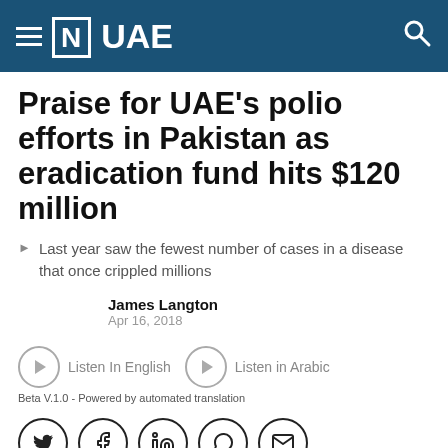[N] UAE
Praise for UAE's polio efforts in Pakistan as eradication fund hits $120 million
Last year saw the fewest number of cases in a disease that once crippled millions
James Langton
Apr 16, 2018
[Figure (infographic): Listen In English and Listen in Arabic audio buttons with play icons]
Beta V.1.0 - Powered by automated translation
[Figure (infographic): Social media share icons: Twitter, Facebook, LinkedIn, WhatsApp, Email]